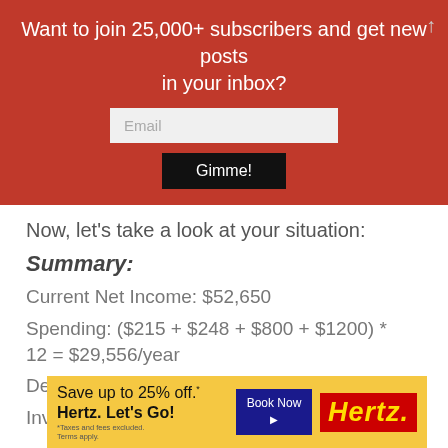Want to join 25,000+ subscribers and get new posts in your inbox?
Now, let’s take a look at your situation:
Summary:
Current Net Income: $52,650
Spending: ($215 + $248 + $800 + $1200) * 12 = $29,556/year
Debt: -$4200
Investable Assets: $9000 (available only
[Figure (other): Hertz advertisement banner: Save up to 25% off. Hertz. Let’s Go! Book Now.]